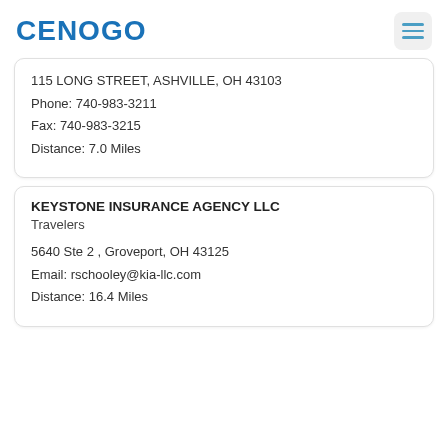CENOGO
115 LONG STREET, ASHVILLE, OH 43103
Phone: 740-983-3211
Fax: 740-983-3215
Distance: 7.0 Miles
KEYSTONE INSURANCE AGENCY LLC
Travelers
5640 Ste 2 , Groveport, OH 43125
Email: rschooley@kia-llc.com
Distance: 16.4 Miles